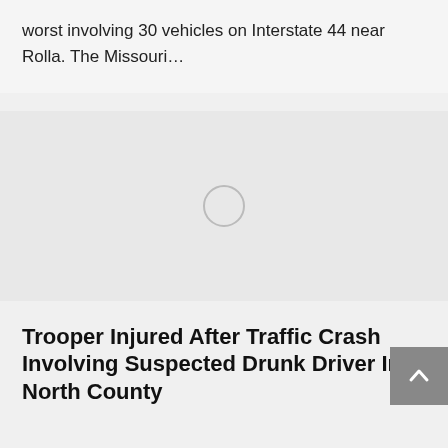worst involving 30 vehicles on Interstate 44 near Rolla. The Missouri…
[Figure (photo): Loading placeholder with spinner circle on light gray background]
Trooper Injured After Traffic Crash Involving Suspected Drunk Driver In North County